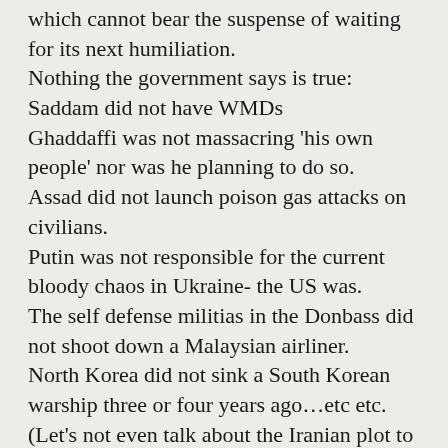which cannot bear the suspense of waiting for its next humiliation. Nothing the government says is true: Saddam did not have WMDs Ghaddaffi was not massacring 'his own people' nor was he planning to do so. Assad did not launch poison gas attacks on civilians. Putin was not responsible for the current bloody chaos in Ukraine- the US was. The self defense militias in the Donbass did not shoot down a Malaysian airliner. North Korea did not sink a South Korean warship three or four years ago…etc etc. (Let's not even talk about the Iranian plot to blow up a restaurant in Washington.)